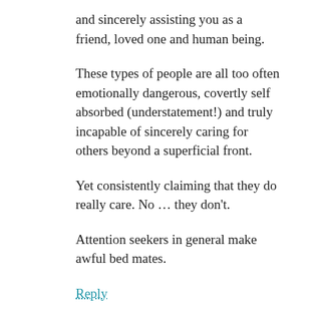and sincerely assisting you as a friend, loved one and human being.
These types of people are all too often emotionally dangerous, covertly self absorbed (understatement!) and truly incapable of sincerely caring for others beyond a superficial front.
Yet consistently claiming that they do really care. No … they don't.
Attention seekers in general make awful bed mates.
Reply